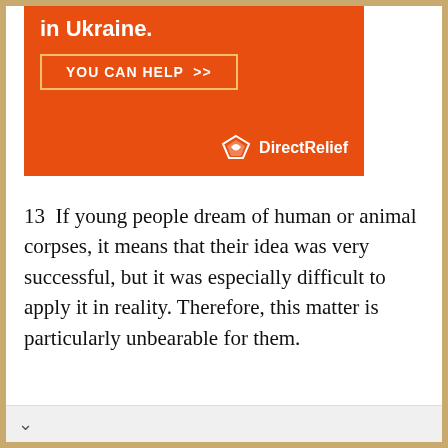[Figure (other): Direct Relief charity advertisement banner with orange background, bold white text '...through the lines in Ukraine.', a bordered button 'YOU CAN HELP >>', and the DirectRelief logo with icon]
13　If young people dream of human or animal corpses, it means that their idea was very successful, but it was especially difficult to apply it in reality. Therefore, this matter is particularly unbearable for them.